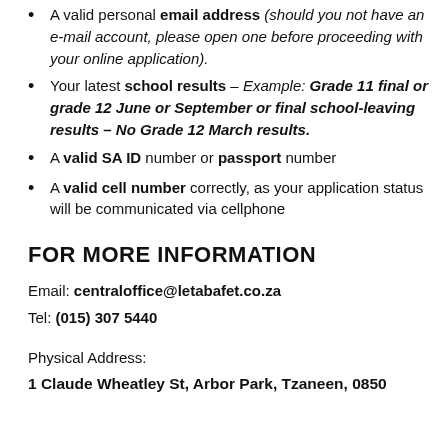A valid personal email address (should you not have an e-mail account, please open one before proceeding with your online application).
Your latest school results – Example: Grade 11 final or grade 12 June or September or final school-leaving results – No Grade 12 March results.
A valid SA ID number or passport number
A valid cell number correctly, as your application status will be communicated via cellphone
FOR MORE INFORMATION
Email: centraloffice@letabafet.co.za
Tel: (015) 307 5440
Physical Address:
1 Claude Wheatley St, Arbor Park, Tzaneen, 0850